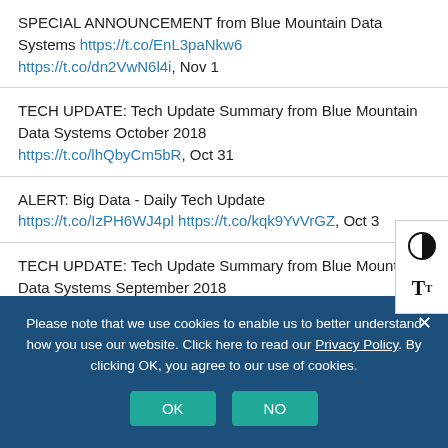SPECIAL ANNOUNCEMENT from Blue Mountain Data Systems https://t.co/EnL3paNkw6 https://t.co/dn2VwN6l4i, Nov 1
TECH UPDATE: Tech Update Summary from Blue Mountain Data Systems October 2018 https://t.co/lhQbyCm5bR, Oct 31
ALERT: Big Data - Daily Tech Update https://t.co/IzPH6WJ4pl https://t.co/kqk9YvVrGZ, Oct 3
TECH UPDATE: Tech Update Summary from Blue Mountain Data Systems September 2018 https://t.co/7N0GWAMpnx, Oct 31
Please note that we use cookies to enable us to better understand how you use our website. Click here to read our Privacy Policy. By clicking OK, you agree to our use of cookies.